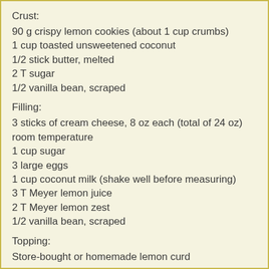Crust:
90 g crispy lemon cookies (about 1 cup crumbs)
1 cup toasted unsweetened coconut
1/2 stick butter, melted
2 T sugar
1/2 vanilla bean, scraped
Filling:
3 sticks of cream cheese, 8 oz each (total of 24 oz) room temperature
1 cup sugar
3 large eggs
1 cup coconut milk (shake well before measuring)
3 T Meyer lemon juice
2 T Meyer lemon zest
1/2 vanilla bean, scraped
Topping:
Store-bought or homemade lemon curd
1. Preheat oven to 350 degrees.
2. Mix together the crust ingredients and press into your